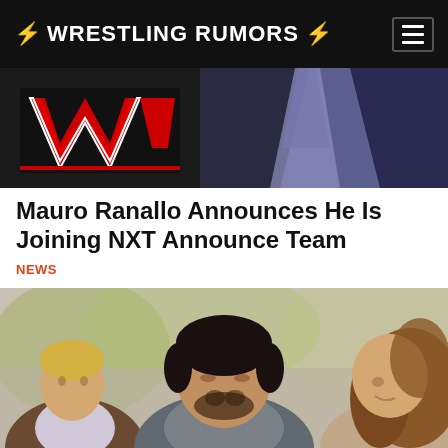WRESTLING RUMORS
[Figure (photo): Partial photo showing WWE logo/branding and a person in a suit with purple/blue tie against dark background]
Mauro Ranallo Announces He Is Joining NXT Announce Team
NEWS
[Figure (photo): Photo of three people outdoors: a blonde man in brown jacket on the left, a dark-haired man with beard in the center foreground, and a woman with long brown hair on the right, with blurred greenery in the background]